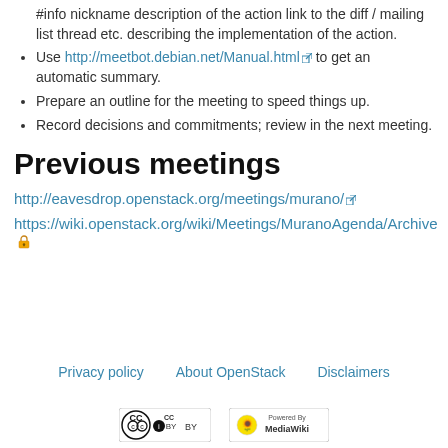#info nickname description of the action link to the diff / mailing list thread etc. describing the implementation of the action.
Use http://meetbot.debian.net/Manual.html to get an automatic summary.
Prepare an outline for the meeting to speed things up.
Record decisions and commitments; review in the next meeting.
Previous meetings
http://eavesdrop.openstack.org/meetings/murano/
https://wiki.openstack.org/wiki/Meetings/MuranoAgenda/Archive
Privacy policy   About OpenStack   Disclaimers
[Figure (logo): Creative Commons Attribution license logo and Powered by MediaWiki logo]